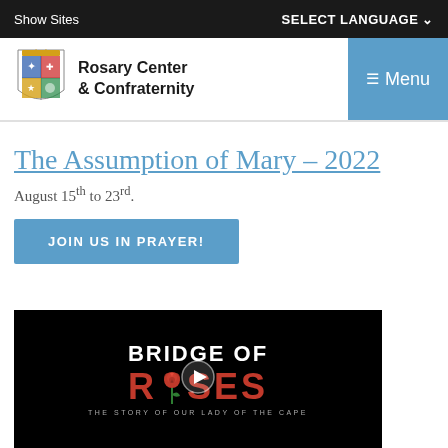Show Sites | SELECT LANGUAGE
[Figure (logo): Rosary Center & Confraternity logo with shield/coat of arms icon and organization name text]
The Assumption of Mary – 2022
August 15th to 23rd.
JOIN US IN PRAYER!
[Figure (screenshot): Video thumbnail for 'Bridge of Roses: The Story of Our Lady of the Cape' showing title text on black background with a red rose illustration and play button]